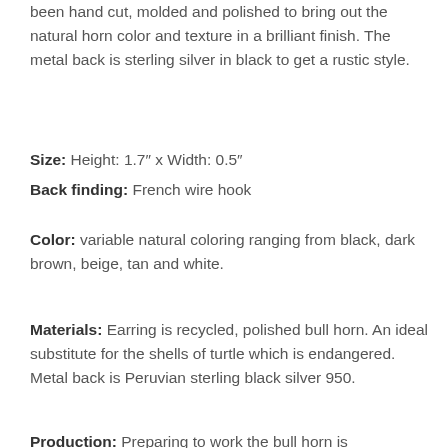been hand cut, molded and polished to bring out the natural horn color and texture in a brilliant finish. The metal back is sterling silver in black to get a rustic style.
Size:  Height: 1.7" x Width: 0.5"
Back finding:  French wire hook
Color:  variable natural coloring ranging from black, dark brown, beige, tan and white.
Materials:  Earring is recycled, polished bull horn. An ideal substitute for the shells of turtle which is endangered. Metal back is Peruvian sterling black silver 950.
Production:  Preparing to work the bull horn is